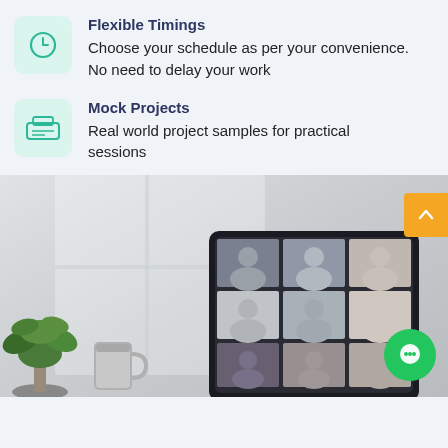Flexible Timings
Choose your schedule as per your convenience. No need to delay your work
Mock Projects
Real world project samples for practical sessions
[Figure (photo): A tablet on a desk showing a video conference with multiple participants in a grid layout. Office setting with plants, a mug, blurred window background, and a green chat button and orange scroll button overlaid.]